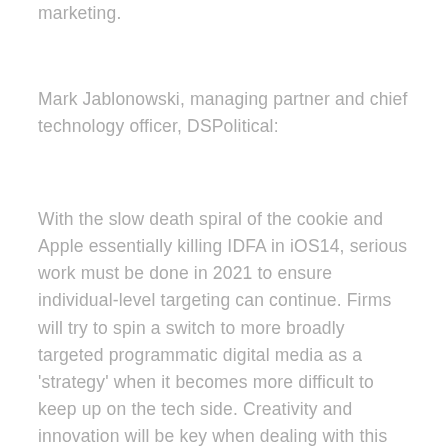integrated model of consumer marketing.
Mark Jablonowski, managing partner and chief technology officer, DSPolitical:
With the slow death spiral of the cookie and Apple essentially killing IDFA in iOS14, serious work must be done in 2021 to ensure individual-level targeting can continue. Firms will try to spin a switch to more broadly targeted programmatic digital media as a 'strategy' when it becomes more difficult to keep up on the tech side. Creativity and innovation will be key when dealing with this ever-evolving technological landscape.